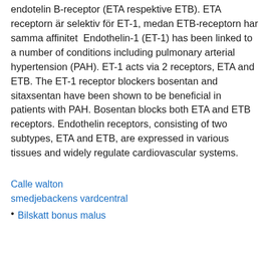endotelin B-receptor (ETA respektive ETB). ETA receptorn är selektiv för ET-1, medan ETB-receptorn har samma affinitet  Endothelin-1 (ET-1) has been linked to a number of conditions including pulmonary arterial hypertension (PAH). ET-1 acts via 2 receptors, ETA and ETB. The ET-1 receptor blockers bosentan and sitaxsentan have been shown to be beneficial in patients with PAH. Bosentan blocks both ETA and ETB receptors. Endothelin receptors, consisting of two subtypes, ETA and ETB, are expressed in various tissues and widely regulate cardiovascular systems.
Calle walton
smedjebackens vardcentral
Bilskatt bonus malus